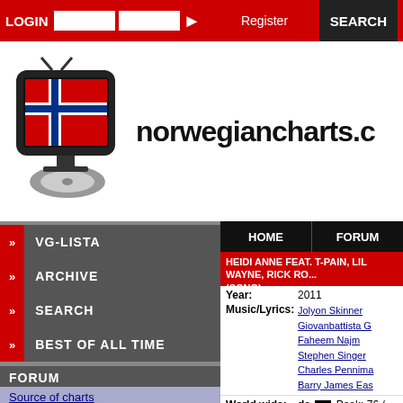LOGIN | Register | SEARCH
[Figure (logo): norwegiancharts.com logo with Norwegian flag TV icon]
VG-LISTA
ARCHIVE
SEARCH
BEST OF ALL TIME
FORUM
Source of charts
Help find the song
Norway Year End Charts
Date of Publication
Forum opened
HOME | FORUM
HEIDI ANNE FEAT. T-PAIN, LIL WAYNE, RICK RO... (SONG)
Year: 2011
Music/Lyrics: Jolyon Skinner / Giovanbattista G / Faheem Najm / Stephen Singer / Charles Pennima / Barry James Eas
World wide: de Peak: 76 /
TRACKS
Promo - Digital BIP - [be]
1. When The Sun Comes Up (DIMARO Radio E...
2. When The Sun Comes Up (Michael Mind Pro...
3. When The Sun Comes Up (Michael Mind Rad...
4. When The Sun Comes Up (Glitch And Repeat...
5. When The Sun Comes Up (Glitch And Repeat...